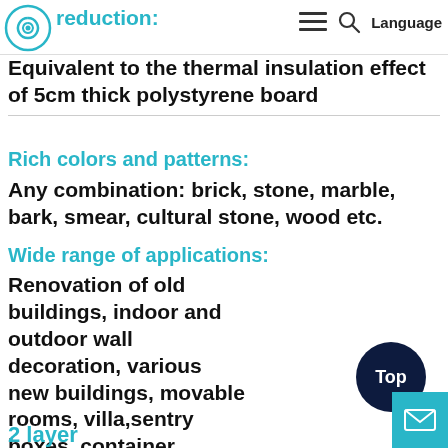reduction: ≡ 🔍 Language
Equivalent to the thermal insulation effect of 5cm thick polystyrene board
Rich colors and patterns:
Any combination: brick, stone, marble, bark, smear, cultural stone, wood etc.
Wide range of applications:
Renovation of old buildings, indoor and outdoor wall decoration, various new buildings, movable rooms, villa,sentry boxes, container houses ,environmentally friendly toilets, modular and prefabricated buildings.